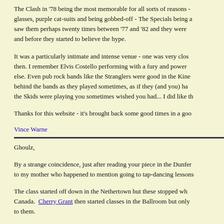The Clash in '78 being the most memorable for all sorts of reasons - glasses, purple cat-suits and being gobbed-off - The Specials being a saw them perhaps twenty times between '77 and '82 and they were and before they started to believe the hype.
It was a particularly intimate and intense venue - one was very clos then. I remember Elvis Costello performing with a fury and power else. Even pub rock bands like the Stranglers were good in the Kine behind the bands as they played sometimes, as if they (and you) ha the Skids were playing you sometimes wished you had... I did like th
Thanks for this website - it's brought back some good times in a goo
Vince Warne
Ghoulz,
By a strange coincidence, just after reading your piece in the Dunfer to my mother who happened to mention going to tap-dancing lessons
The class started off down in the Nethertown but these stopped wh Canada. Cherry Grant then started classes in the Ballroom but only to them.
She was extremely disappointed when these also stopped when the E positive that it became a billet for Polish troops.
You may already know this, but she also said that George Hylands